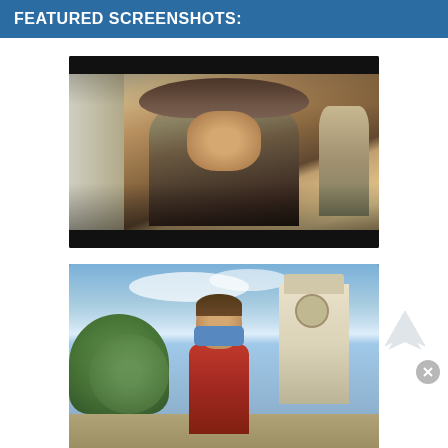FEATURED SCREENSHOTS:
[Figure (screenshot): Movie screenshot showing a man in a fedora hat (Indiana Jones style) leaning forward with an intense expression, set in a Middle Eastern marketplace scene]
[Figure (screenshot): Movie screenshot showing a young man in a red puffer vest looking surprised/scared, with a clock tower and trees visible in the background (Back to the Future scene)]
Advertisements
[Figure (illustration): Advertisement banner with red background reading KISS BORING LIPS GOODBYE with a SHOP NOW button and Macy's star logo]